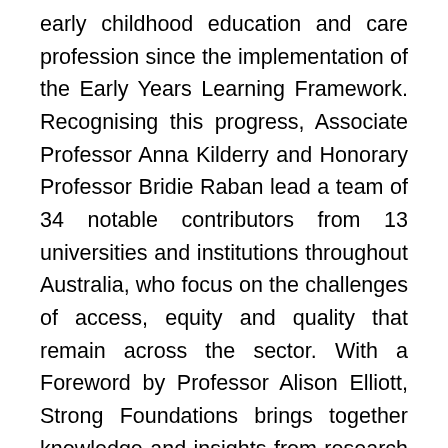early childhood education and care profession since the implementation of the Early Years Learning Framework. Recognising this progress, Associate Professor Anna Kilderry and Honorary Professor Bridie Raban lead a team of 34 notable contributors from 13 universities and institutions throughout Australia, who focus on the challenges of access, equity and quality that remain across the sector. With a Foreword by Professor Alison Elliott, Strong Foundations brings together knowledge and insights from research in education, health, social care, child safety, science, mathematics and the arts. The critical importance of health, wellbeing and safety in the first five years of children's lives is reflected in a particular focus on supporting positive